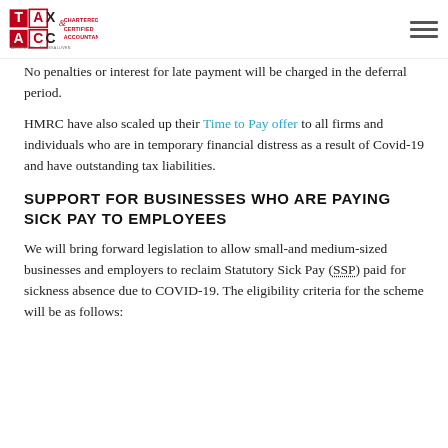TAX & ACC Chartered Certified Accountants
No penalties or interest for late payment will be charged in the deferral period.
HMRC have also scaled up their Time to Pay offer to all firms and individuals who are in temporary financial distress as a result of Covid-19 and have outstanding tax liabilities.
SUPPORT FOR BUSINESSES WHO ARE PAYING SICK PAY TO EMPLOYEES
We will bring forward legislation to allow small-and medium-sized businesses and employers to reclaim Statutory Sick Pay (SSP) paid for sickness absence due to COVID-19. The eligibility criteria for the scheme will be as follows: